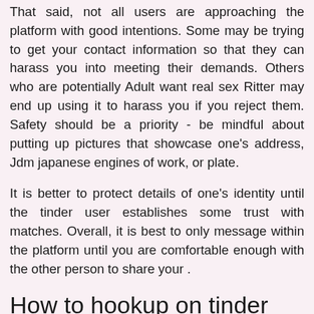That said, not all users are approaching the platform with good intentions. Some may be trying to get your contact information so that they can harass you into meeting their demands. Others who are potentially Adult want real sex Ritter may end up using it to harass you if you reject them. Safety should be a priority - be mindful about putting up pictures that showcase one's address, Jdm japanese engines of work, or plate.
It is better to protect details of one's identity until the tinder user establishes some trust with matches. Overall, it is best to only message within the platform until you are comfortable enough with the other person to share your .
How to hookup on tinder (expert woman's guide)